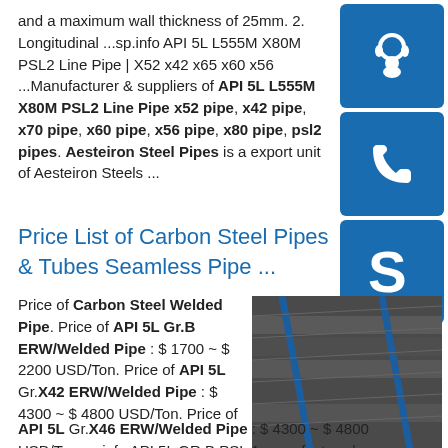and a maximum wall thickness of 25mm. 2. Longitudinal ...sp.info API 5L L555M X80M PSL2 Line Pipe | X52 x42 x65 x60 x56 ...Manufacturer & suppliers of API 5L L555M X80M PSL2 Line Pipe x52 pipe, x42 pipe, x70 pipe, x60 pipe, x56 pipe, x80 pipe, psl2 pipes. Aesteiron Steel Pipes is a export unit of Aesteiron Steels ...
Price List of Carbon Steel Pipes & Tubes Seamless Pipe ...
Price of Carbon Steel Welded Pipe. Price of API 5L Gr.B ERW/Welded Pipe : $ 1700 ~ $ 2200 USD/Ton. Price of API 5L Gr.X42 ERW/Welded Pipe : $ 4300 ~ $ 4800 USD/Ton. Price of
[Figure (photo): Stacked steel plates/sheets photographed from an angle, showing blue strapping bands.]
API 5L Gr.X46 ERW/Welded Pipe : $ 4300 ~ $ 4800 USD/Ton.sp.info API 5L GR.B PSL 1 manufacturer|